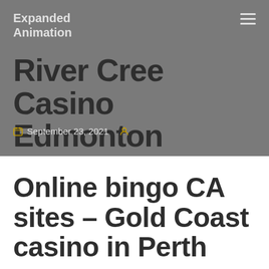Expanded Animation
River Cree Casino Edmonton Events
September 23, 2021
Online bingo CA sites – Gold Coast casino in Perth